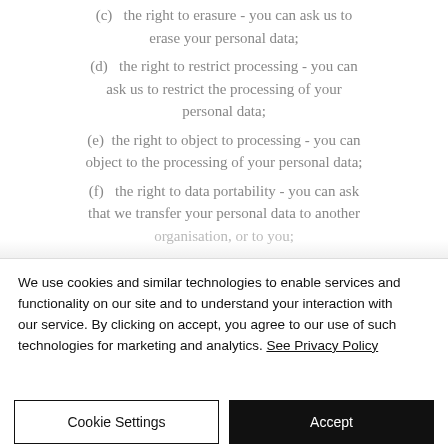(c) the right to erasure - you can ask us to erase your personal data;
(d) the right to restrict processing - you can ask us to restrict the processing of your personal data;
(e) the right to object to processing - you can object to the processing of your personal data;
(f) the right to data portability - you can ask that we transfer your personal data to another organisation, or to you;
We use cookies and similar technologies to enable services and functionality on our site and to understand your interaction with our service. By clicking on accept, you agree to our use of such technologies for marketing and analytics. See Privacy Policy